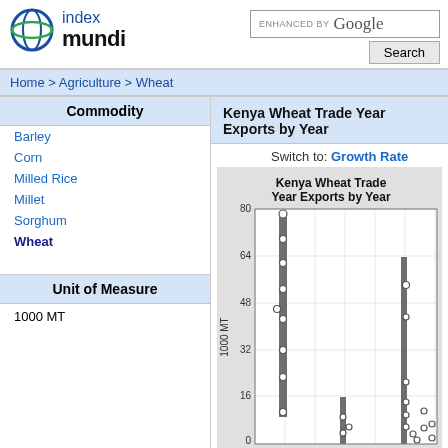[Figure (logo): Index Mundi logo with circular globe icon, blue and green colors]
ENHANCED BY Google
Search
Home > Agriculture > Wheat
Commodity
Barley
Corn
Milled Rice
Millet
Sorghum
Wheat
Unit of Measure
1000 MT
Kenya Wheat Trade Year Exports by Year
Switch to: Growth Rate
[Figure (scatter-plot): Scatter plot with vertical bar-like clusters showing Kenya wheat trade year exports by year. Y-axis goes from 0 to 80 with gridlines at 0, 16, 32, 48, 64, 80. Data points shown as open circles at various x positions with dense vertical clusters.]